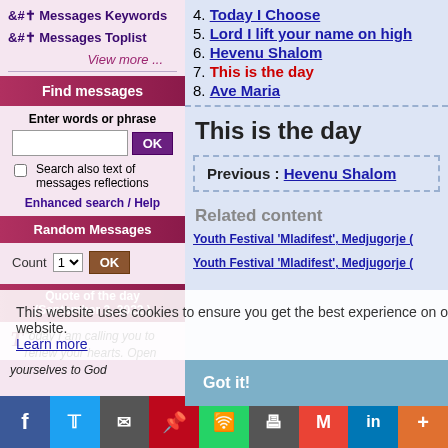Messages Keywords
Messages Toplist
View more ...
Find messages
Enter words or phrase
Search also text of messages reflections
Enhanced search / Help
Random Messages
Count 1
Quote of the day (September 3, 2022)
“Today I am calling you to renew your hearts. Open yourselves to God
4. Today I Choose
5. Lord I lift your name on high
6. Hevenu Shalom
7. This is the day
8. Ave Maria
This is the day
Previous : Hevenu Shalom
Related content
Youth Festival 'Mladifest', Medjugorje (
Youth Festival 'Mladifest', Medjugorje (
This website uses cookies to ensure you get the best experience on our website. Learn more
Got it!